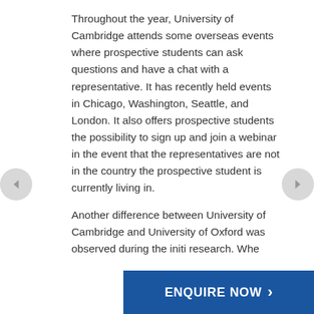Throughout the year, University of Cambridge attends some overseas events where prospective students can ask questions and have a chat with a representative. It has recently held events in Chicago, Washington, Seattle, and London. It also offers prospective students the possibility to sign up and join a webinar in the event that the representatives are not in the country the prospective student is currently living in.

Another difference between University of Cambridge and University of Oxford was observed during the initial research. Whe...